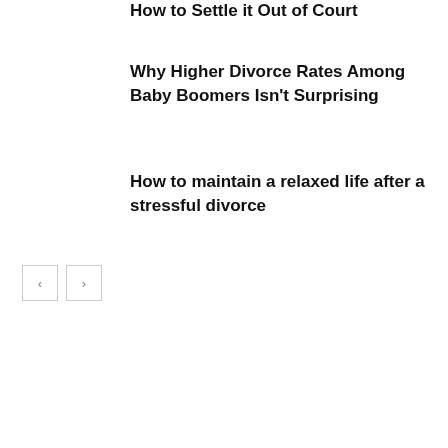How to Settle it Out of Court
Why Higher Divorce Rates Among Baby Boomers Isn't Surprising
How to maintain a relaxed life after a stressful divorce